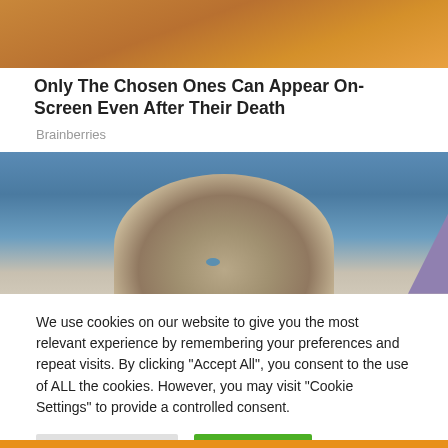[Figure (photo): Partial photo visible at top, warm orange/brown tones, appears to be a person or decorative image cropped at top of page]
Only The Chosen Ones Can Appear On-Screen Even After Their Death
Brainberries
[Figure (photo): Photo of a blonde curly-haired woman with blue eyes against a blue sky background, with a purple element visible at the right edge]
We use cookies on our website to give you the most relevant experience by remembering your preferences and repeat visits. By clicking "Accept All", you consent to the use of ALL the cookies. However, you may visit "Cookie Settings" to provide a controlled consent.
Cookie Settings | Accept All